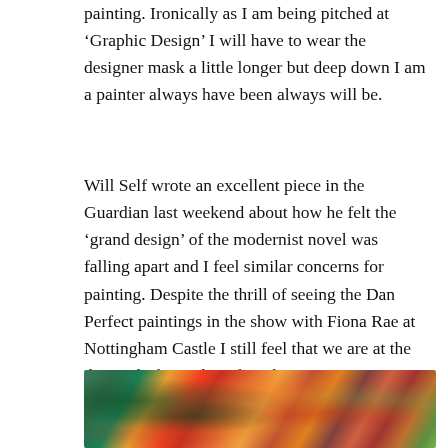painting. Ironically as I am being pitched at ‘Graphic Design’ I will have to wear the designer mask a little longer but deep down I am a painter always have been always will be.
Will Self wrote an excellent piece in the Guardian last weekend about how he felt the ‘grand design’ of the modernist novel was falling apart and I feel similar concerns for painting. Despite the thrill of seeing the Dan Perfect paintings in the show with Fiona Rae at Nottingham Castle I still feel that we are at the thin end of a wedge of modernist painting not at the start. Like the novel maybe the best is behind us and we are collecting the fragments?
[Figure (photo): A colorful abstract painting with vibrant reds, oranges, greens, and blues — densely layered figurative and abstract forms.]